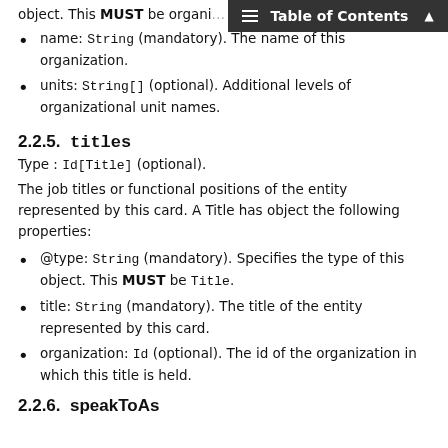name: String (mandatory). The name of this organization.
units: String[] (optional). Additional levels of organizational unit names.
2.2.5.  titles
Type : Id[Title] (optional).
The job titles or functional positions of the entity represented by this card. A Title has object the following properties:
@type: String (mandatory). Specifies the type of this object. This MUST be Title.
title: String (mandatory). The title of the entity represented by this card.
organization: Id (optional). The id of the organization in which this title is held.
2.2.6.  speakToAs